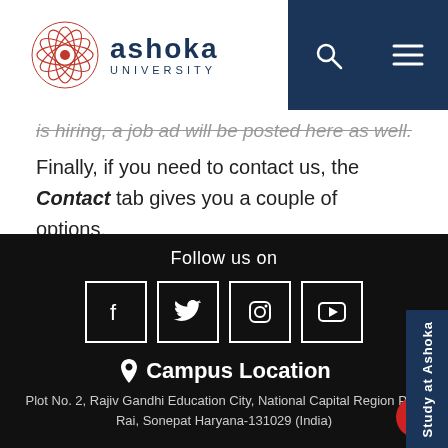[Figure (logo): Ashoka University logo with circular red geometric pattern and text 'ashoka UNIVERSITY']
is hiring, a job ad will be posted here as well.
Finally, if you need to contact us, the Contact tab gives you a couple of options.
Follow us on
[Figure (other): Social media icons: Facebook, Twitter, Instagram, YouTube in white outline square buttons]
Campus Location
Plot No. 2, Rajiv Gandhi Education City, National Capital Region P.O. Rai, Sonepat Haryana-131029 (India)